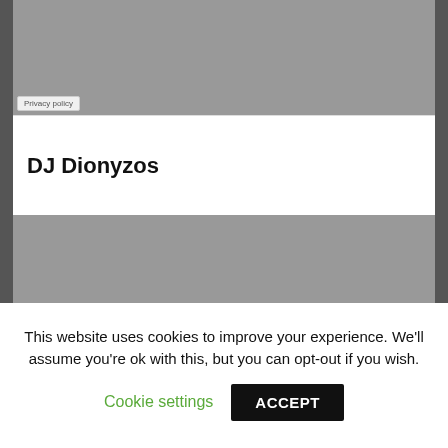[Figure (screenshot): Top portion of a SoundCloud embedded player widget with gray background and Privacy policy badge]
DJ Dionyzos
[Figure (screenshot): SoundCloud embedded player widget showing an orange 'Play on SoundCloud' button, a waveform with SOUNDCLOUD watermark, and a gray 'Listen in browser' button, with Privacy policy badge at bottom]
This website uses cookies to improve your experience. We'll assume you're ok with this, but you can opt-out if you wish.
Cookie settings
ACCEPT